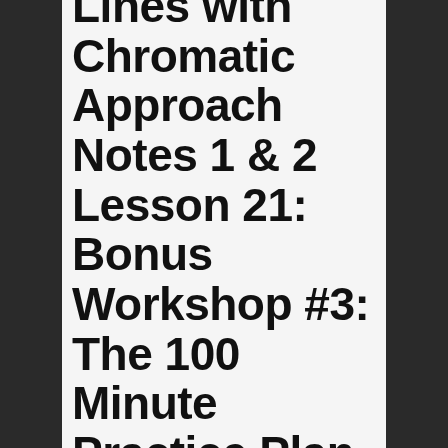Lines with Chromatic Approach Notes 1 & 2 Lesson 21: Bonus Workshop #3: The 100 Minute Practice Plan Lesson 22: Walking Bass with Triads / Walking Bass with Embellishments